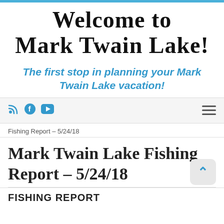Welcome to Mark Twain Lake!
The first stop in planning your Mark Twain Lake vacation!
RSS Facebook YouTube navigation menu
Fishing Report – 5/24/18
Mark Twain Lake Fishing Report – 5/24/18
FISHING REPORT